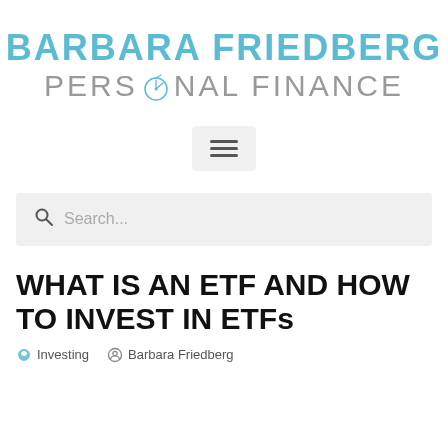[Figure (logo): Barbara Friedberg Personal Finance logo with blue uppercase 'BARBARA FRIEDBERG' text and gray 'PERSONAL FINANCE' text with a pie chart icon embedded in the word PERSONAL]
[Figure (other): Hamburger menu icon (three horizontal lines) inside a light gray rounded rectangle button]
[Figure (other): Search bar with magnifying glass icon and placeholder text 'Search...' on a light gray background]
WHAT IS AN ETF AND HOW TO INVEST IN ETFs
Investing   Barbara Friedberg